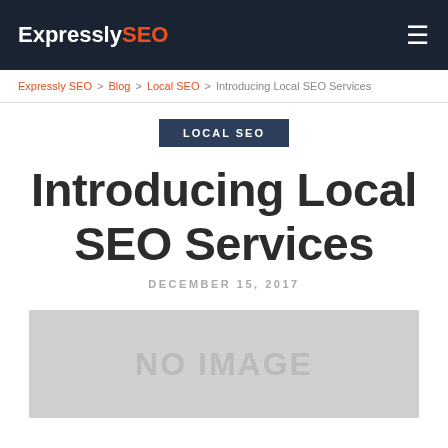ExpresslySEO [hamburger menu]
Expressly SEO > Blog > Local SEO > Introducing Local SEO Services
LOCAL SEO
Introducing Local SEO Services
DECEMBER 15, 2017
[Figure (other): Placeholder image area showing 'NO IMAGE' text on grey background]